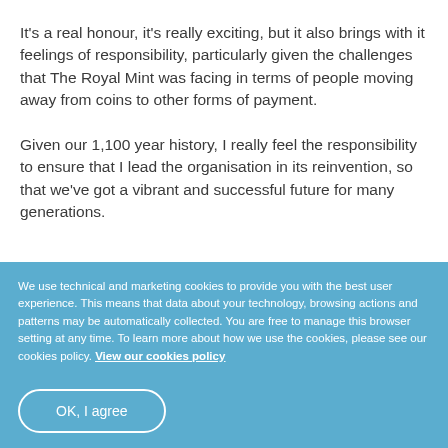It's a real honour, it's really exciting, but it also brings with it feelings of responsibility, particularly given the challenges that The Royal Mint was facing in terms of people moving away from coins to other forms of payment.
Given our 1,100 year history, I really feel the responsibility to ensure that I lead the organisation in its reinvention, so that we've got a vibrant and successful future for many generations.
We use technical and marketing cookies to provide you with the best user experience. This means that data about your technology, browsing actions and patterns may be automatically collected. You are free to manage this browser setting at any time. To learn more about how we use the cookies, please see our cookies policy. View our cookies policy
OK, I agree